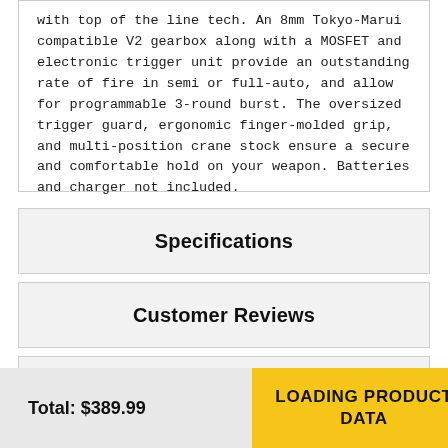with top of the line tech. An 8mm Tokyo-Marui compatible V2 gearbox along with a MOSFET and electronic trigger unit provide an outstanding rate of fire in semi or full-auto, and allow for programmable 3-round burst. The oversized trigger guard, ergonomic finger-molded grip, and multi-position crane stock ensure a secure and comfortable hold on your weapon. Batteries and charger not included.
Specifications
Customer Reviews
Videos
Total: $389.99
LOADING PRODUCT DATA